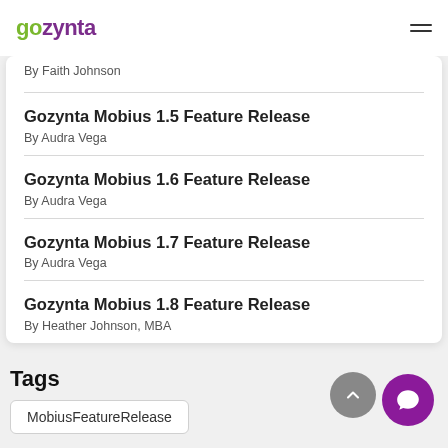gozynta
By Faith Johnson
Gozynta Mobius 1.5 Feature Release
By Audra Vega
Gozynta Mobius 1.6 Feature Release
By Audra Vega
Gozynta Mobius 1.7 Feature Release
By Audra Vega
Gozynta Mobius 1.8 Feature Release
By Heather Johnson, MBA
Tags
MobiusFeatureRelease